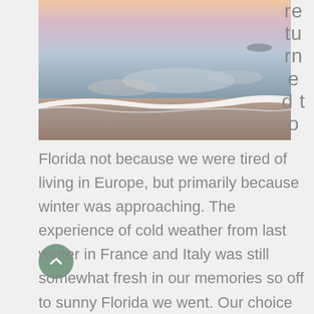[Figure (photo): Coastal beach scene at sunset/dusk with wave foam along the shoreline, wet sand reflecting clouds in pastel pink, blue and purple sky tones.]
returned to Florida not because we were tired of living in Europe, but primarily because winter was approaching. The experience of cold weather from last winter in France and Italy was still somewhat fresh in our memories so off to sunny Florida we went. Our choice of transportation for the return was a trans-Atlantic cruise that